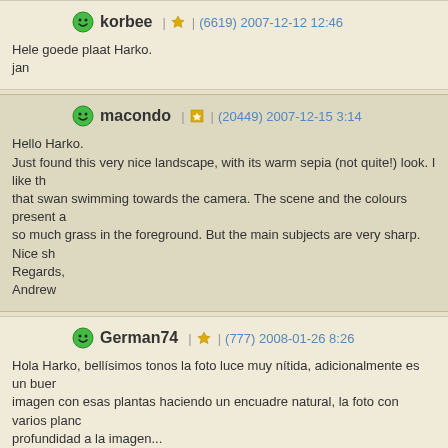korbee | ★ | (6619) 2007-12-12 12:46
Hele goede plaat Harko.
jan
macondo | ★ | (20449) 2007-12-15 3:14
Hello Harko.
Just found this very nice landscape, with its warm sepia (not quite!) look. I like that swan swimming towards the camera. The scene and the colours present a so much grass in the foreground. But the main subjects are very sharp. Nice sh
Regards,
Andrew
German74 | ★ | (777) 2008-01-26 8:26
Hola Harko, bellísimos tonos la foto luce muy nítida, adicionalmente es un buen imagen con esas plantas haciendo un encuadre natural, la foto con varios plan profundidad a la imagen...

Abrazos...